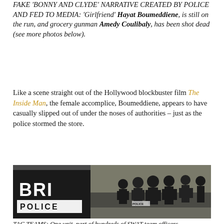FAKE 'BONNY AND CLYDE' NARRATIVE CREATED BY POLICE AND FED TO MEDIA: 'Girlfriend' Hayat Boumeddiene, is still on the run, and grocery gunman Amedy Coulibaly, has been shot dead (see more photos below).
Like a scene straight out of the Hollywood blockbuster film The Inside Man, the female accomplice, Boumeddiene, appears to have casually slipped out of under the noses of authorities – just as the police stormed the store.
[Figure (photo): BRI Police tactical team van on left with 'BRI POLICE' lettering in white, and a group of heavily armored SWAT officers in black tactical gear and helmets advancing on a street.]
TAC TEAMS: One unit, part of hundreds of SWAT team officers